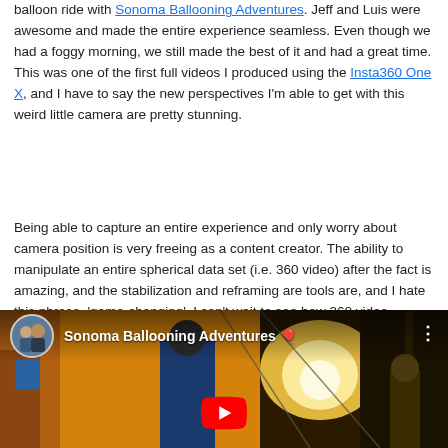balloon ride with Sonoma Ballooning Adventures. Jeff and Luis were awesome and made the entire experience seamless. Even though we had a foggy morning, we still made the best of it and had a great time. This was one of the first full videos I produced using the Insta360 One X, and I have to say the new perspectives I'm able to get with this weird little camera are pretty stunning.
Being able to capture an entire experience and only worry about camera position is very freeing as a content creator. The ability to manipulate an entire spherical data set (i.e. 360 video) after the fact is amazing, and the stabilization and reframing are tools are, and I hate this phrase, 'game-changing'. I can't wait to see how 360 video evolves over time!
[Figure (screenshot): Embedded YouTube video thumbnail for 'Sonoma Ballooning Adventures' showing a person in a blue jacket near a hot air balloon with flames visible, with a YouTube play button overlay and channel avatar with two people.]